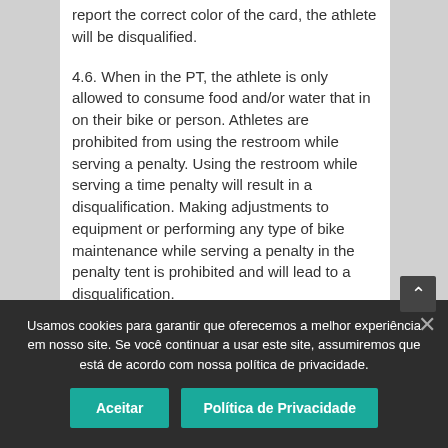report the correct color of the card, the athlete will be disqualified.
4.6. When in the PT, the athlete is only allowed to consume food and/or water that in on their bike or person. Athletes are prohibited from using the restroom while serving a penalty. Using the restroom while serving a time penalty will result in a disqualification. Making adjustments to equipment or performing any type of bike maintenance while serving a penalty in the penalty tent is prohibited and will lead to a disqualification.
4.7. Any athlete who accumulates three (3) blue cards will be disqualified. If disqualified, an athlete may finish the Race unless otherwise
Usamos cookies para garantir que oferecemos a melhor experiência em nosso site. Se você continuar a usar este site, assumiremos que está de acordo com nossa política de privacidade.